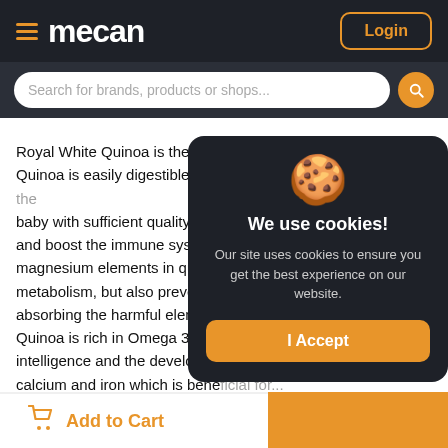mecan — Login
Search for brands, products or shops...
Royal White Quinoa is the only fully nutritious alkaline food. Quinoa is easily digestible and with delicate taste, providing the baby with sufficient quality pro... and boost the immune system... magnesium elements in quinoa... metabolism, but also prevent c... absorbing the harmful element... Quinoa is rich in Omega 3 which... intelligence and the developme... calcium and iron which is bene... baby's bones and teeth, to prev... also conductive to the develop...
[Figure (screenshot): Cookie consent modal with cookie emoji icon, title 'We use cookies!', description text, and 'I Accept' button on dark background]
Add to Cart